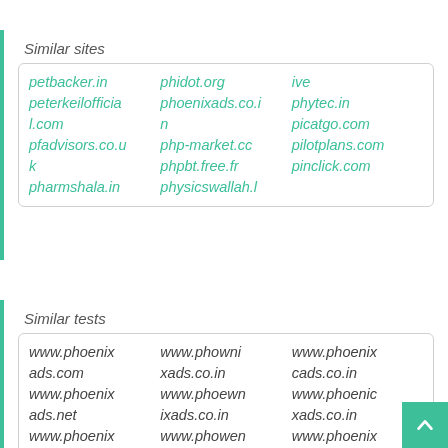Similar sites
| petbacker.in
peterkeilofficial.com
pfadvisors.co.uk
pharmshala.in | phidot.org
phoenixads.co.in
php-market.cc
phpbt.free.fr
physicswallah.l | ive
phytec.in
picatgo.com
pilotplans.com
pinclick.com |
Similar tests
| www.phoenixads.com
www.phoenixads.net
www.phoenix | www.phownixads.co.in
www.phoewnixads.co.in
www.phowen | www.phoenixcads.co.in
www.phoenicxads.co.in
www.phoenix |